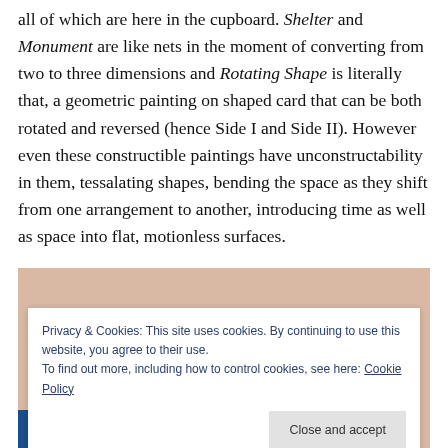all of which are here in the cupboard. Shelter and Monument are like nets in the moment of converting from two to three dimensions and Rotating Shape is literally that, a geometric painting on shaped card that can be both rotated and reversed (hence Side I and Side II). However even these constructible paintings have unconstructability in them, tessalating shapes, bending the space as they shift from one arrangement to another, introducing time as well as space into flat, motionless surfaces.
[Figure (photo): Partial view of an artwork with a beige/tan background, partially obscured by a cookie consent banner overlay.]
Privacy & Cookies: This site uses cookies. By continuing to use this website, you agree to their use.
To find out more, including how to control cookies, see here: Cookie Policy
Close and accept